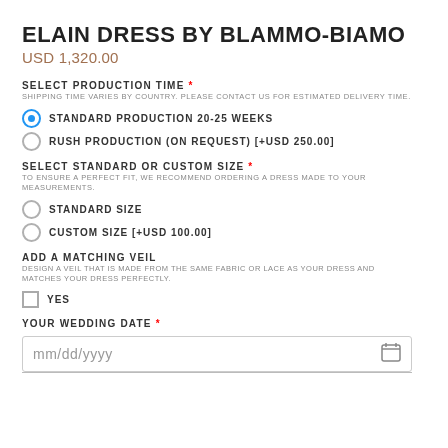ELAIN DRESS BY BLAMMO-BIAMO
USD 1,320.00
SELECT PRODUCTION TIME *
SHIPPING TIME VARIES BY COUNTRY. PLEASE CONTACT US FOR ESTIMATED DELIVERY TIME.
STANDARD PRODUCTION 20-25 WEEKS
RUSH PRODUCTION (ON REQUEST) [+USD 250.00]
SELECT STANDARD OR CUSTOM SIZE *
TO ENSURE A PERFECT FIT, WE RECOMMEND ORDERING A DRESS MADE TO YOUR MEASUREMENTS.
STANDARD SIZE
CUSTOM SIZE [+USD 100.00]
ADD A MATCHING VEIL
DESIGN A VEIL THAT IS MADE FROM THE SAME FABRIC OR LACE AS YOUR DRESS AND MATCHES YOUR DRESS PERFECTLY.
YES
YOUR WEDDING DATE *
mm/dd/yyyy